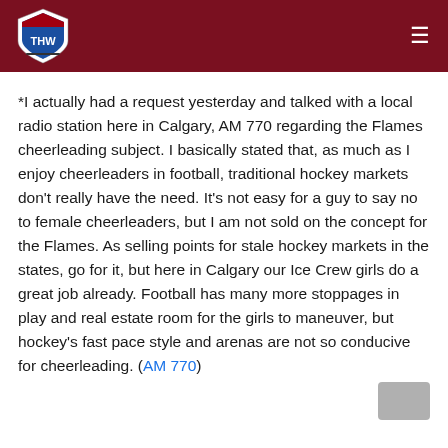[Figure (logo): THW hockey website logo - shield shaped badge with THW text on dark red header bar]
*I actually had a request yesterday and talked with a local radio station here in Calgary, AM 770 regarding the Flames cheerleading subject. I basically stated that, as much as I enjoy cheerleaders in football, traditional hockey markets don't really have the need. It's not easy for a guy to say no to female cheerleaders, but I am not sold on the concept for the Flames. As selling points for stale hockey markets in the states, go for it, but here in Calgary our Ice Crew girls do a great job already. Football has many more stoppages in play and real estate room for the girls to maneuver, but hockey's fast pace style and arenas are not so conducive for cheerleading. (AM 770)